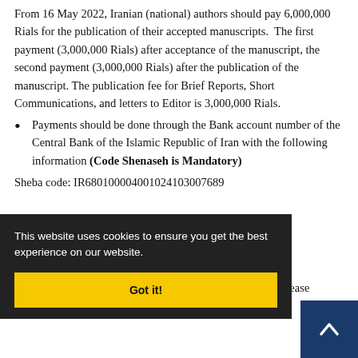From 16 May 2022, Iranian (national) authors should pay 6,000,000 Rials for the publication of their accepted manuscripts. The first payment (3,000,000 Rials) after acceptance of the manuscript, the second payment (3,000,000 Rials) after the publication of the manuscript. The publication fee for Brief Reports, Short Communications, and letters to Editor is 3,000,000 Rials.
Payments should be done through the Bank account number of the Central Bank of the Islamic Republic of Iran with the following information (Code Shenaseh is Mandatory)
Sheba code: IR680100004001024103007689
This website uses cookies to ensure you get the best experience on our website.
Got it!
ebsite (Please